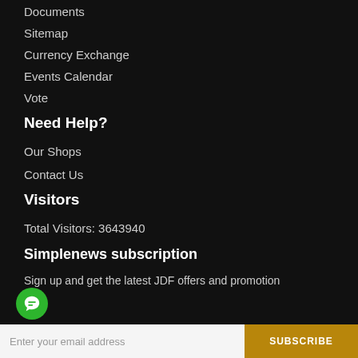Documents
Sitemap
Currency Exchange
Events Calendar
Vote
Need Help?
Our Shops
Contact Us
Visitors
Total Visitors: 3643940
Simplenews subscription
Sign up and get the latest JDF offers and promotion